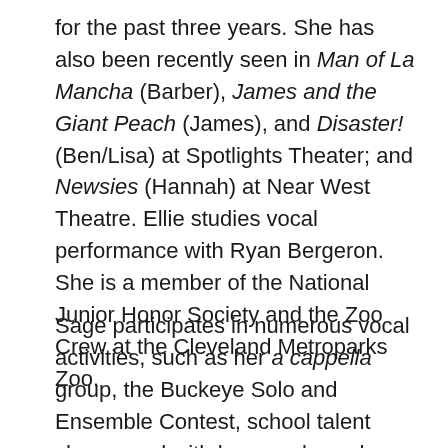for the past three years. She has also been recently seen in Man of La Mancha (Barber), James and the Giant Peach (James), and Disaster! (Ben/Lisa) at Spotlights Theater; and Newsies (Hannah) at Near West Theatre. Ellie studies vocal performance with Ryan Bergeron. She is a member of the National Junior Honor Society and the Zoo Crew at the Cleveland Metroparks Zoo.
Sage participates in numerous vocal activities, such as her a cappella group, the Buckeye Solo and Ensemble Contest, school talent shows, and with her vocal coach, Denise Howell. She has taken part in musicals, including Finian's Rainbow Jr. in 2017, and performed as Gingy in Shrek Jr. earlier this year. Sage enjoys athletics, including soccer and track, as well as dance. At school, she likes spending time with her friends, and participating in National